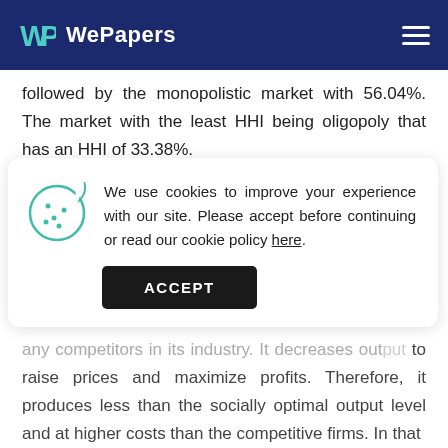WePapers
followed by the monopolistic market with 56.04%. The market with the least HHI being oligopoly that has an HHI of 33.38%.
We use cookies to improve your experience with our site. Please accept before continuing or read our cookie policy here.
any competitors in its industry. It decreases output to raise prices and maximize profits. Therefore, it produces less than the socially optimal output level and at higher costs than the competitive firms. In that